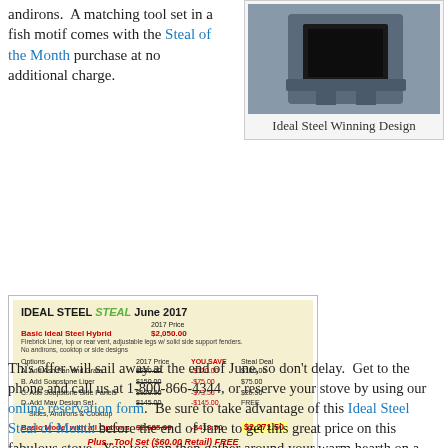andirons. A matching tool set in a fish motif comes with the Steal of the Month purchase at no additional charge.
[Figure (photo): Photo of Ideal Steel wood stove with caption 'Ideal Steel Winning Design']
Ideal Steel Winning Design
[Figure (infographic): IDEAL STEEL STEAL June 2017 promotional pricing table showing Basic Ideal Steel Hybrid at $2,050.00, options A-D with savings, total Basic Model with all Options $2,685.00 - $413.50 = $2,271.50, Plus...Tool Set ($60.00 Retail) FREE]
This offer will sail away at the end of June, so don't delay. Get to the phone and call us at 1-800-866-4344, or reserve your stove by using our online reservation form. Be sure to take advantage of this Ideal Steel Steal of Month before the end of June to get this great price on this fabulous stove. You too can then gather around your warm hearth on a chilly evening and tell the tale of the stove that started out as a fish